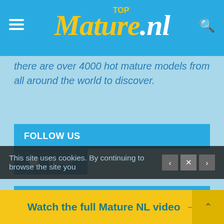TOP Mature.nl
there are over 4000 hot mature models from all around the world to discover.
FOLLOW US
Twitter
RANDOM MATURE NL'S VIDEOS
This site uses cookies. By continuing to browse the site you
Watch the full Mature NL video →